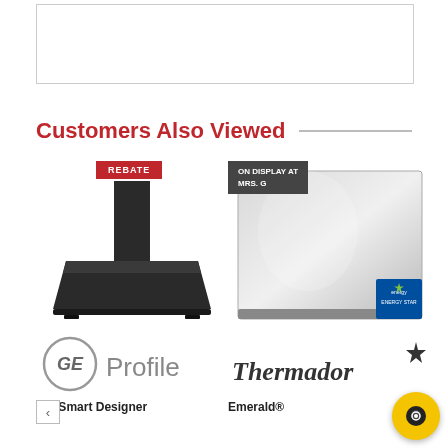[Figure (other): Empty white box with light border at top of page]
Customers Also Viewed
[Figure (photo): Product image: GE Profile 36-inch black smart designer range hood with REBATE badge]
[Figure (photo): Product image: Thermador Emerald dishwasher in stainless steel with ON DISPLAY AT MRS. G badge and Energy Star logo]
[Figure (logo): GE Profile logo]
[Figure (logo): Thermador logo with star]
36" Smart Designer
Emerald®